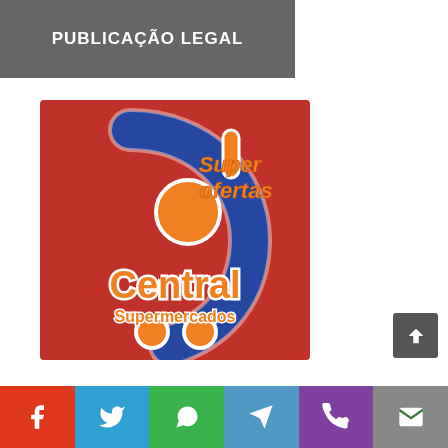PUBLICAÇÃO LEGAL
[Figure (logo): Central Supermercados 'Super ofertas' logo — red background with blue stylized C/shopping-cart icon, orange circle, orange 'Central Supermercados' text and orange italic 'Super ofertas' text]
Social share bar with Facebook, Twitter, WhatsApp, Telegram, Phone, Email icons